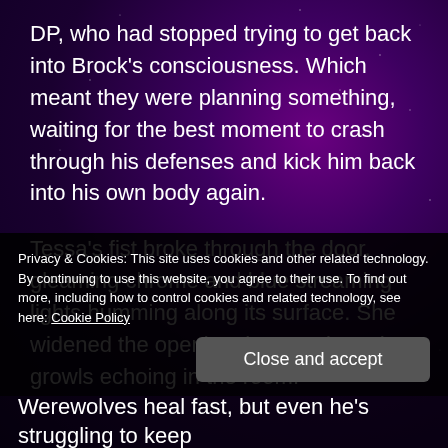DP, who had stopped trying to get back into Brock's consciousness. Which meant they were planning something, waiting for the best moment to crash through his defenses and kick him back into his own body again.
Tessa's fist broke through the door, gleaming chrome and blue streaming lights humming along its surface. She widened the opening, her snarls and growls echoing in the room.
Privacy & Cookies: This site uses cookies and other related technology. By continuing to use this website, you agree to their use. To find out more, including how to control cookies and related technology, see here: Cookie Policy
Close and accept
Werewolves heal fast, but even he's struggling to keep